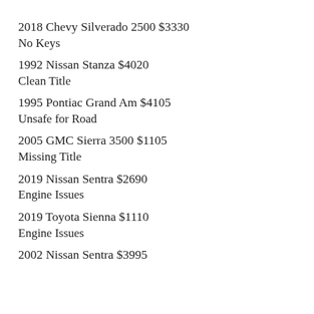2018 Chevy Silverado 2500 $3330
No Keys
1992 Nissan Stanza $4020
Clean Title
1995 Pontiac Grand Am $4105
Unsafe for Road
2005 GMC Sierra 3500 $1105
Missing Title
2019 Nissan Sentra $2690
Engine Issues
2019 Toyota Sienna $1110
Engine Issues
2002 Nissan Sentra $3995